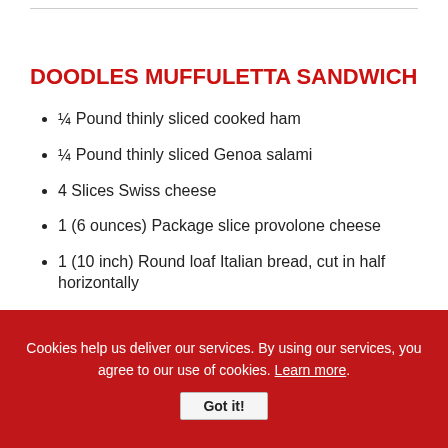DOODLES MUFFULETTA SANDWICH
¼ Pound thinly sliced cooked ham
¼ Pound thinly sliced Genoa salami
4 Slices Swiss cheese
1 (6 ounces) Package slice provolone cheese
1 (10 inch) Round loaf Italian bread, cut in half horizontally
1 ½ Cups Doodles Olive Salad (Recipe below)
Cookies help us deliver our services. By using our services, you agree to our use of cookies. Learn more.